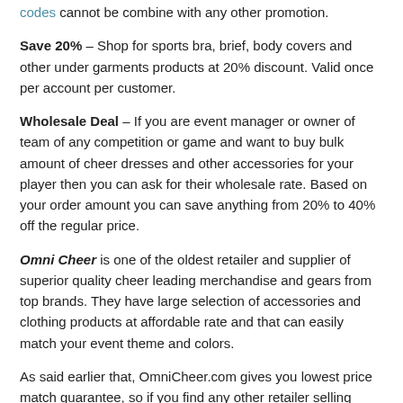codes cannot be combine with any other promotion.
Save 20% – Shop for sports bra, brief, body covers and other under garments products at 20% discount. Valid once per account per customer.
Wholesale Deal – If you are event manager or owner of team of any competition or game and want to buy bulk amount of cheer dresses and other accessories for your player then you can ask for their wholesale rate. Based on your order amount you can save anything from 20% to 40% off the regular price.
Omni Cheer is one of the oldest retailer and supplier of superior quality cheer leading merchandise and gears from top brands. They have large selection of accessories and clothing products at affordable rate and that can easily match your event theme and colors.
As said earlier that, OmniCheer.com gives you lowest price match guarantee, so if you find any other retailer selling same product at lower price then you can ask them and they will adjust the price for you by giving you discount codes for that order. They accept returns within 30 days from date of purchase.
How to get more Omni Cheer Coupon Codes?